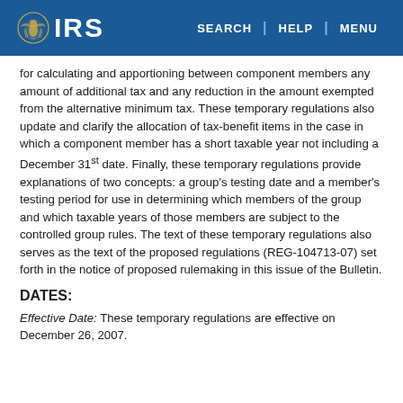IRS | SEARCH | HELP | MENU
for calculating and apportioning between component members any amount of additional tax and any reduction in the amount exempted from the alternative minimum tax. These temporary regulations also update and clarify the allocation of tax-benefit items in the case in which a component member has a short taxable year not including a December 31st date. Finally, these temporary regulations provide explanations of two concepts: a group’s testing date and a member’s testing period for use in determining which members of the group and which taxable years of those members are subject to the controlled group rules. The text of these temporary regulations also serves as the text of the proposed regulations (REG-104713-07) set forth in the notice of proposed rulemaking in this issue of the Bulletin.
DATES:
Effective Date: These temporary regulations are effective on December 26, 2007.